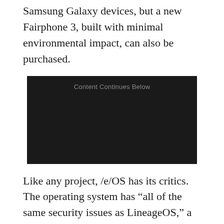Samsung Galaxy devices, but a new Fairphone 3, built with minimal environmental impact, can also be purchased.
[Figure (other): Advertisement placeholder box with text 'Content Continues Below' on dark background]
Like any project, /e/OS has its critics. The operating system has “all of the same security issues as LineageOS,” a researcher who goes by the name of madaidan argues. “It disables verified boot, which is used to make sure that the firmware, bootloader, OS, etc. are not tampered with.” He argues that most custom ROMs use userdebug builds (which add extra debugging attack surface), allow root access via adb, don’t